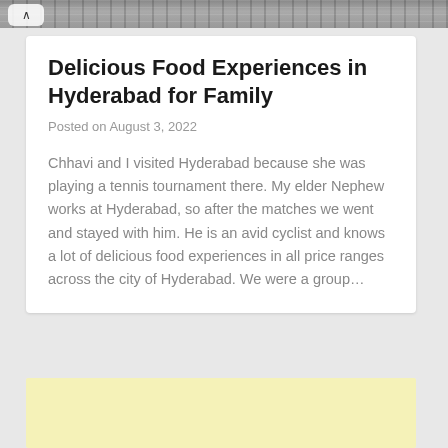[Figure (photo): Newspaper print texture strip at top of page]
Delicious Food Experiences in Hyderabad for Family
Posted on August 3, 2022
Chhavi and I visited Hyderabad because she was playing a tennis tournament there. My elder Nephew works at Hyderabad, so after the matches we went and stayed with him. He is an avid cyclist and knows a lot of delicious food experiences in all price ranges across the city of Hyderabad. We were a group…
[Figure (other): Yellow advertisement banner at bottom of page]